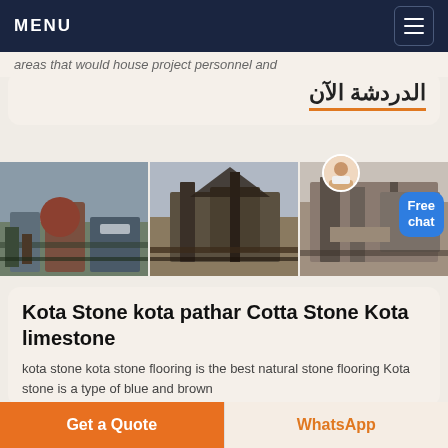MENU
areas that would house project personnel and
الدردشة الآن
[Figure (photo): Three photos of stone crushing machinery and quarry equipment side by side]
Kota Stone kota pathar Cotta Stone Kota limestone
kota stone kota stone flooring is the best natural stone flooring Kota stone is a type of blue and brown
الدردشة الآن
Get a Quote
WhatsApp